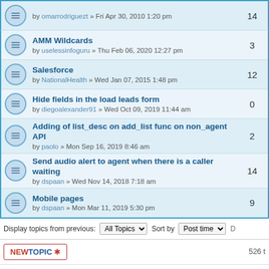by omarrodriguezt » Fri Apr 30, 2010 1:20 pm | replies: 14
AMM Wildcards
by uselessinfoguru » Thu Feb 06, 2020 12:27 pm | replies: 3
Salesforce
by NationalHealth » Wed Jan 07, 2015 1:48 pm | replies: 12
Hide fields in the load leads form
by diegoalexander91 » Wed Oct 09, 2019 11:44 am | replies: 0
Adding of list_desc on add_list func on non_agent API
by paolo » Mon Sep 16, 2019 8:46 am | replies: 2
Send audio alert to agent when there is a caller waiting
by dspaan » Wed Nov 14, 2018 7:18 am | replies: 14
Mobile pages
by dspaan » Mon Mar 11, 2019 5:30 pm | replies: 9
Display topics from previous: All Topics  Sort by Post time
NEWTOPIC ✱   526 t
Return to Board index   Jump to:
WHO IS ONLINE
Users browsing this forum: No registered users and 3 guests